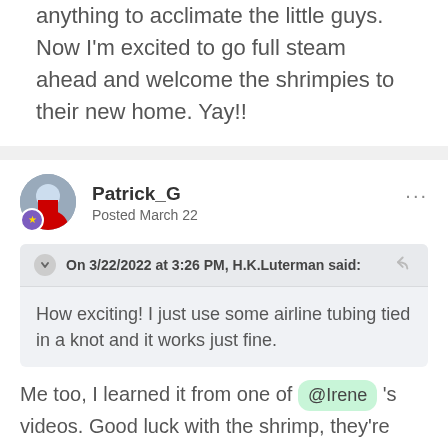anything to acclimate the little guys. Now I'm excited to go full steam ahead and welcome the shrimpies to their new home. Yay!!
Patrick_G
Posted March 22
On 3/22/2022 at 3:26 PM, H.K.Luterman said:
How exciting! I just use some airline tubing tied in a knot and it works just fine.
Me too, I learned it from one of @Irene 's videos. Good luck with the shrimp, they're super fun!